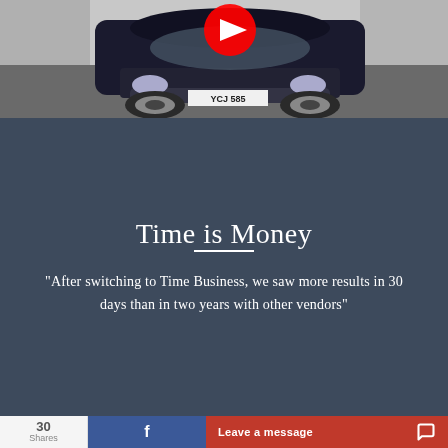[Figure (screenshot): Screenshot of a dark car (black sedan) shown from the front-left angle in what appears to be a parking area or garage. A red YouTube play button icon is overlaid on the top center of the image. A license plate reading 'YCJ 585' is visible on the car.]
Time is Money
"After switching to Time Business, we saw more results in 30 days than in two years with other vendors"
30 Shares
Leave a message